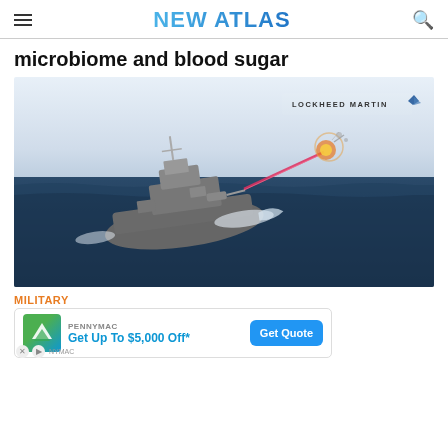NEW ATLAS
microbiome and blood sugar
[Figure (illustration): Illustration of a US Navy destroyer ship at sea firing a red laser beam at an aerial target (drone or missile), with a Lockheed Martin logo in the upper right corner of the image. The ship is shown from an aerial perspective, moving through dark blue ocean water with white wake. An explosion or impact is visible where the laser hits the target in the sky.]
MILITARY
US N… Mart… ed
[Figure (infographic): PennyMac advertisement overlay: green/blue gradient logo with 'PENNYMAC' brand text, offer text 'Get Up To $5,000 Off*', and a blue 'Get Quote' button.]